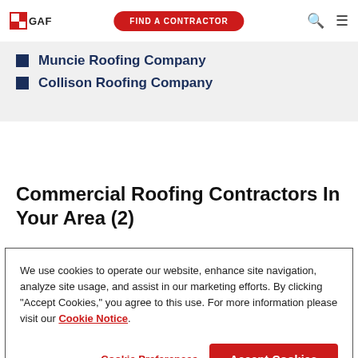GAF | FIND A CONTRACTOR
Muncie Roofing Company
Collison Roofing Company
Commercial Roofing Contractors In Your Area (2)
We use cookies to operate our website, enhance site navigation, analyze site usage, and assist in our marketing efforts. By clicking "Accept Cookies," you agree to this use. For more information please visit our Cookie Notice. Cookie Preferences Accept Cookies